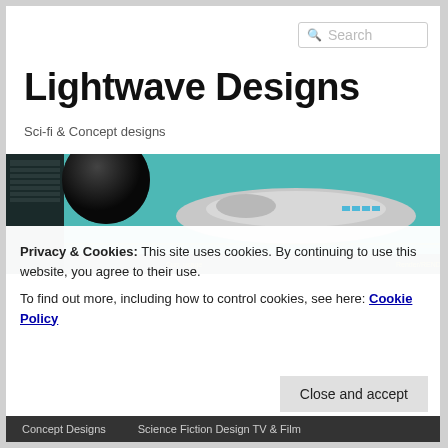Search
Lightwave Designs
Sci-fi & Concept designs
[Figure (screenshot): Screenshot of a 3D modeling/rendering software interface showing a sci-fi spacecraft model on a teal background with interface panels]
Privacy & Cookies: This site uses cookies. By continuing to use this website, you agree to their use.
To find out more, including how to control cookies, see here: Cookie Policy
Close and accept
Concept Designs   Science Fiction Design TV & Film